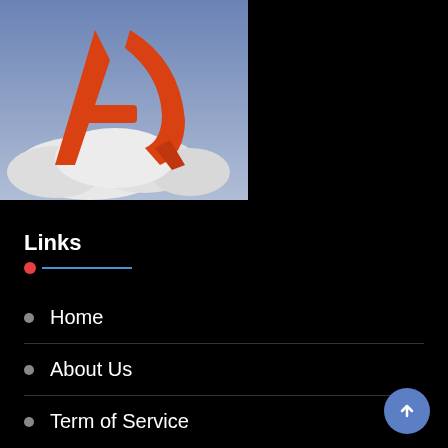[Figure (logo): App logo with orange stylized letter A on a blue-grey background with white cloud shape at bottom]
Links
Home
About Us
Term of Service